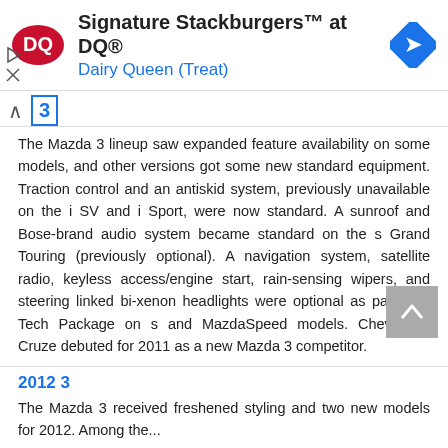[Figure (screenshot): Dairy Queen advertisement banner with DQ logo, text 'Signature Stackburgers™ at DQ® Dairy Queen (Treat)', navigation arrow icon, and play/close controls]
3
The Mazda 3 lineup saw expanded feature availability on some models, and other versions got some new standard equipment. Traction control and an antiskid system, previously unavailable on the i SV and i Sport, were now standard. A sunroof and Bose-brand audio system became standard on the s Grand Touring (previously optional). A navigation system, satellite radio, keyless access/engine start, rain-sensing wipers, and steering linked bi-xenon headlights were optional as part of a Tech Package on s and MazdaSpeed models. Chevrolet's Cruze debuted for 2011 as a new Mazda 3 competitor.
2012 3
The Mazda 3 received freshened styling and two new models for 2012. Among the...